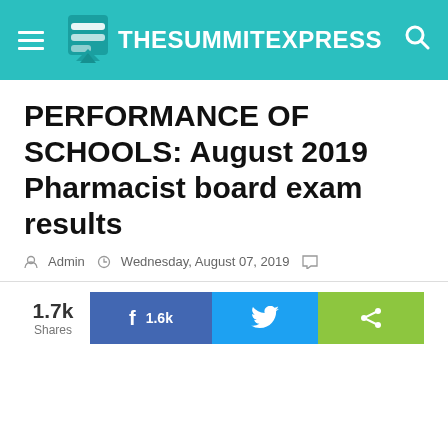TheSummitExpress
PERFORMANCE OF SCHOOLS: August 2019 Pharmacist board exam results
Admin  Wednesday, August 07, 2019
[Figure (screenshot): Social share bar showing 1.7k Shares, Facebook button with 1.6k, Twitter button, and green share button]